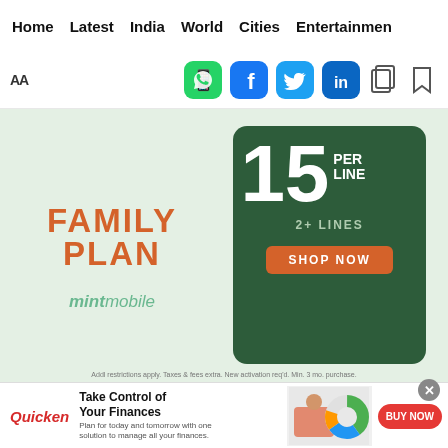Home   Latest   India   World   Cities   Entertainment
[Figure (screenshot): Social sharing toolbar with WhatsApp, Facebook, Twitter, LinkedIn icons and copy/bookmark icons]
[Figure (photo): Mint Mobile advertisement banner: Family Plan $15 per line, 2+ Lines, Shop Now button]
Feb 09, 2022 04:41 PM IST
[Figure (infographic): Quicken advertisement: Take Control of Your Finances - Plan for today and tomorrow with one solution to manage all your finances. BUY NOW button.]